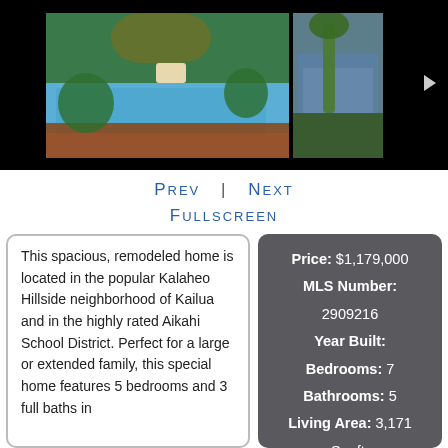[Figure (photo): Two real estate photos side by side: large photo of a pool with wooden deck and tropical garden, smaller thumbnail of a blue house with palm tree, on black background]
PREV  |  NEXT
FULLSCREEN
This spacious, remodeled home is located in the popular Kalaheo Hillside neighborhood of Kailua and in the highly rated Aikahi School District. Perfect for a large or extended family, this special home features 5 bedrooms and 3 full baths in
| Price: | $1,179,000 |
| MLS Number: | 2909216 |
| Year Built: |  |
| Bedrooms: | 7 |
| Bathrooms: | 5 |
| Living Area: | 3,171 Sq. ft. |